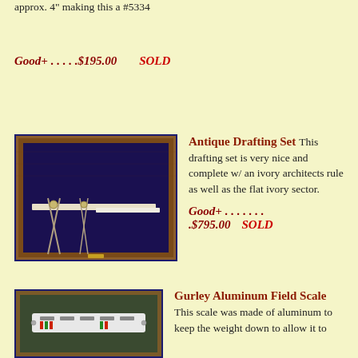approx. 4" making this a #5334
Good+  . . . . .$195.00    SOLD
[Figure (photo): Antique drafting set in a wooden box with blue velvet lining, containing various drafting instruments including an ivory architects rule and flat ivory sector]
Antique Drafting Set This drafting set is very nice and complete w/ an ivory architects rule as well as the flat ivory sector.

Good+ . . . . . . . .$795.00    SOLD
[Figure (photo): Gurley Aluminum Field Scale in a wooden case, showing a white aluminum scale instrument]
Gurley Aluminum Field Scale This scale was made of aluminum to keep the weight down to allow it to